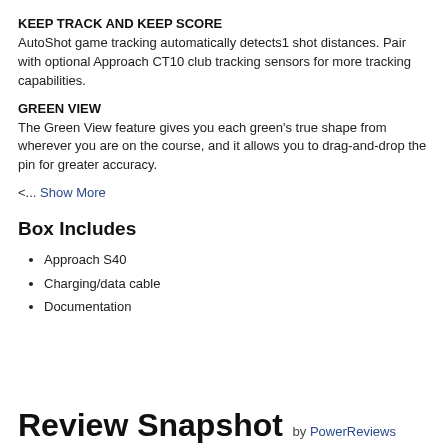KEEP TRACK AND KEEP SCORE
AutoShot game tracking automatically detects1 shot distances. Pair with optional Approach CT10 club tracking sensors for more tracking capabilities.
GREEN VIEW
The Green View feature gives you each green's true shape from wherever you are on the course, and it allows you to drag-and-drop the pin for greater accuracy.
<... Show More
Box Includes
Approach S40
Charging/data cable
Documentation
Review Snapshot by PowerReviews